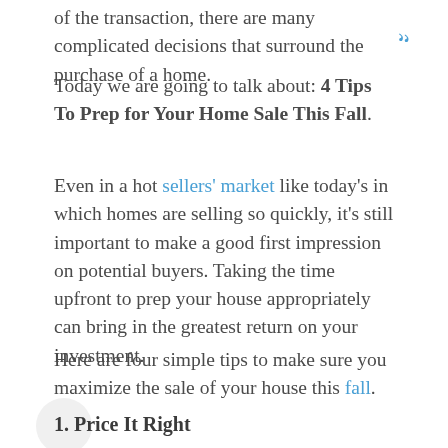of the transaction, there are many complicated decisions that surround the purchase of a home.
Today we are going to talk about: 4 Tips To Prep for Your Home Sale This Fall.
Even in a hot sellers' market like today's in which homes are selling so quickly, it's still important to make a good first impression on potential buyers. Taking the time upfront to prep your house appropriately can bring in the greatest return on your investment.
Here are four simple tips to make sure you maximize the sale of your house this fall.
1. Price It Right